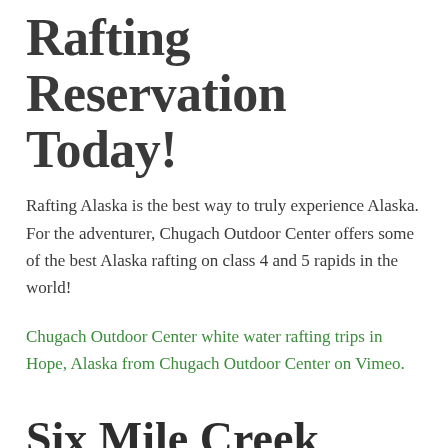Rafting Reservation Today!
Rafting Alaska is the best way to truly experience Alaska. For the adventurer, Chugach Outdoor Center offers some of the best Alaska rafting on class 4 and 5 rapids in the world!
Chugach Outdoor Center white water rafting trips in Hope, Alaska from Chugach Outdoor Center on Vimeo.
Six Mile Creek
Chugach Outdoor